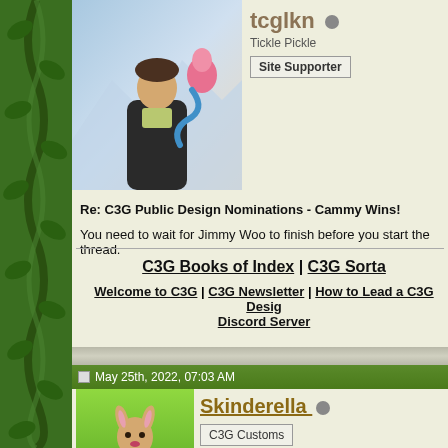[Figure (illustration): Avatar image of tcglkn user showing a man in dark coat with a pink creature]
tcglkn
Tickle Pickle
Site Supporter
Re: C3G Public Design Nominations - Cammy Wins!
You need to wait for Jimmy Woo to finish before you start the thread.
C3G Books of Index | C3G Sorta
Welcome to C3G | C3G Newsletter | How to Lead a C3G Design Discord Server
May 25th, 2022, 07:03 AM
[Figure (illustration): Avatar image of Skinderella user showing a cartoon female deer/rabbit in green field]
Skinderella
C3G Customs
Re: C3G Public Design Nominations - Cammy Wins!